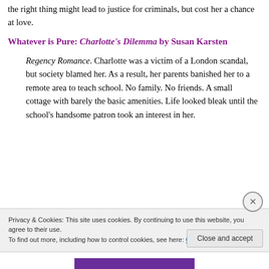the right thing might lead to justice for criminals, but cost her a chance at love.
Whatever is Pure: Charlotte's Dilemma by Susan Karsten
Regency Romance. Charlotte was a victim of a London scandal, but society blamed her. As a result, her parents banished her to a remote area to teach school. No family. No friends. A small cottage with barely the basic amenities. Life looked bleak until the school's handsome patron took an interest in her.
Privacy & Cookies: This site uses cookies. By continuing to use this website, you agree to their use.
To find out more, including how to control cookies, see here: Cookie Policy